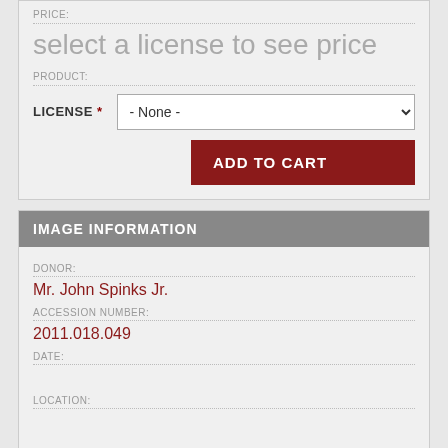PRICE:
select a license to see price
PRODUCT:
LICENSE *
- None -
ADD TO CART
IMAGE INFORMATION
DONOR:
Mr. John Spinks Jr.
ACCESSION NUMBER:
2011.018.049
DATE:
LOCATION: